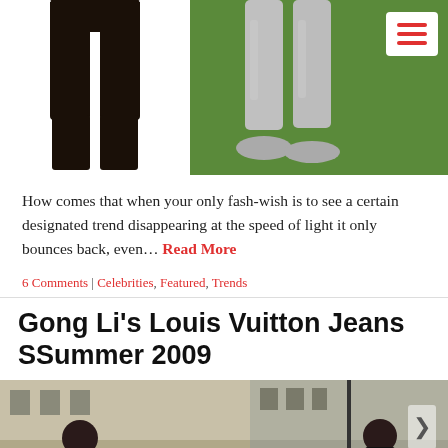[Figure (photo): Two images side by side: left shows dark brown/black slim trousers on white background; right shows a person wearing grey skinny jeans and sneakers standing on grass, with a white hamburger menu icon in top-right corner]
How comes that when your only fash-wish is to see a certain designated trend disappearing at the speed of light it only bounces back, even... Read More
6 Comments | Celebrities, Featured, Trends
Gong Li's Louis Vuitton Jeans SSummer 2009
[Figure (photo): Two photos of women at what appears to be a fashion event, with a building facade in the background. A right-arrow navigation button is visible on the right side.]